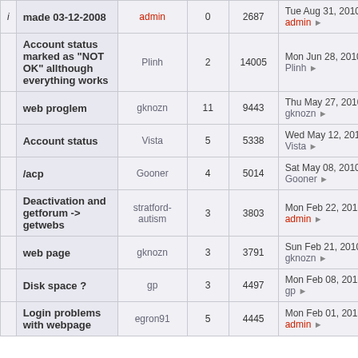|  | Topic | Author | Replies | Views | Last Post |
| --- | --- | --- | --- | --- | --- |
| i | made 03-12-2008 | admin | 0 | 2687 | Tue Aug 31, 2010 7:12
admin |
|  | Account status marked as "NOT OK" allthough everything works | Plinh | 2 | 14005 | Mon Jun 28, 2010 10:02
Plinh |
|  | web proglem | gknozn | 11 | 9443 | Thu May 27, 2010 6:35
gknozn |
|  | Account status | Vista | 5 | 5338 | Wed May 12, 2010 5:46
Vista |
|  | /acp | Gooner | 4 | 5014 | Sat May 08, 2010 2:14
Gooner |
|  | Deactivation and getforum -> getwebs | stratford-autism | 3 | 3803 | Mon Feb 22, 2010 8:07
admin |
|  | web page | gknozn | 3 | 3791 | Sun Feb 21, 2010 10:36
gknozn |
|  | Disk space ? | gp | 3 | 4497 | Mon Feb 08, 2010 5:46
gp |
|  | Login problems with webpage | egron91 | 5 | 4445 | Mon Feb 01, 2010 6:22
admin |